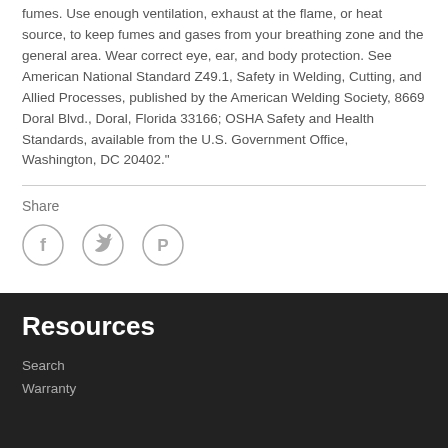fumes. Use enough ventilation, exhaust at the flame, or heat source, to keep fumes and gases from your breathing zone and the general area. Wear correct eye, ear, and body protection. See American National Standard Z49.1, Safety in Welding, Cutting, and Allied Processes, published by the American Welding Society, 8669 Doral Blvd., Doral, Florida 33166; OSHA Safety and Health Standards, available from the U.S. Government Office, Washington, DC 20402."
Share
[Figure (illustration): Three social media icons: Facebook (f), Twitter (bird), Pinterest (P circle)]
Resources
Search
Warranty